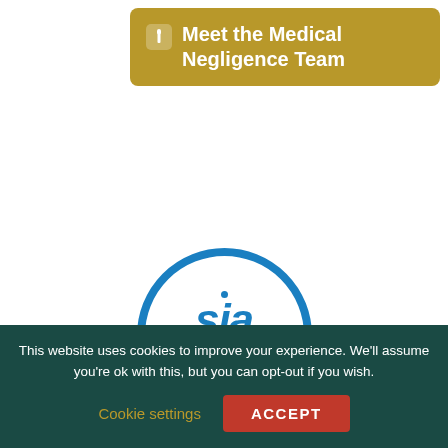Meet the Medical Negligence Team
[Figure (logo): SIA Corporate Member Platinum badge - circular blue logo with 'sia' in italic text, 'CORPORATE MEMBER' below, and 'PLATINUM' on a blue stem/ribbon below the circle]
This website uses cookies to improve your experience. We'll assume you're ok with this, but you can opt-out if you wish.
Cookie settings
ACCEPT